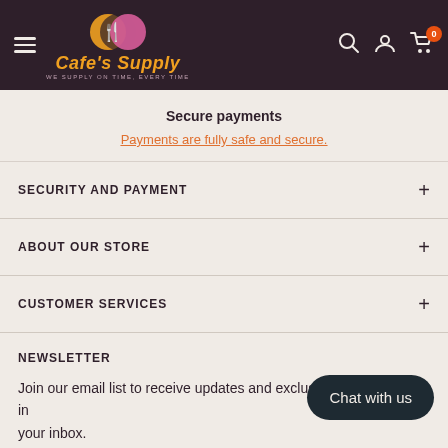[Figure (logo): Cafe's Supply logo with fork, spoon and knife icons in yellow and pink on dark background, with tagline WE SUPPLY ON TIME, EVERY TIME]
Secure payments
Payments are fully safe and secure.
SECURITY AND PAYMENT
ABOUT OUR STORE
CUSTOMER SERVICES
NEWSLETTER
Join our email list to receive updates and exclusive offers directly in your inbox.